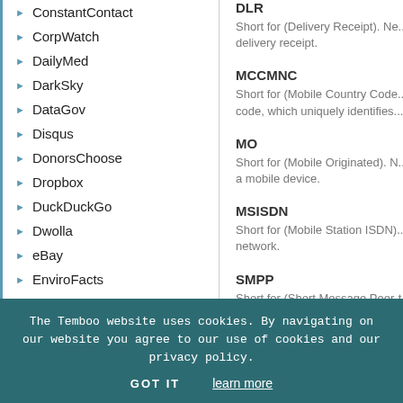ConstantContact
CorpWatch
DailyMed
DarkSky
DataGov
Disqus
DonorsChoose
Dropbox
DuckDuckGo
Dwolla
eBay
EnviroFacts
Facebook
Factual
FedEx
FilesAnywhere
Fitbit
Flickr
Genability
GitHub
Google
GovTrack
DLR
Short for (Delivery Receipt). Ne... delivery receipt.
MCCMNC
Short for (Mobile Country Code... code, which uniquely identifies...
MO
Short for (Mobile Originated). N... a mobile device.
MSISDN
Short for (Mobile Station ISDN).... network.
SMPP
Short for (Short Message Peer-t... medium to high volumes of SMS... protocols are volume, speed,...
TTL
Short for (Time to live). A mech... being discarded.
The Temboo website uses cookies. By navigating on our website you agree to our use of cookies and our privacy policy.